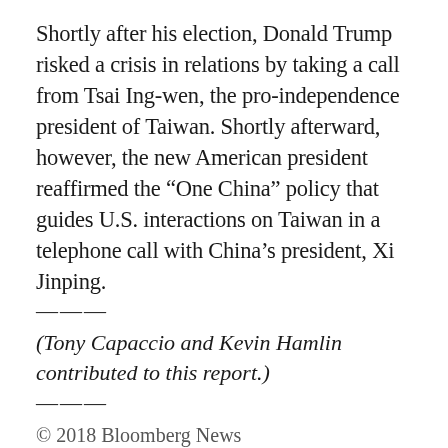Shortly after his election, Donald Trump risked a crisis in relations by taking a call from Tsai Ing-wen, the pro-independence president of Taiwan. Shortly afterward, however, the new American president reaffirmed the "One China" policy that guides U.S. interactions on Taiwan in a telephone call with China's president, Xi Jinping.
———
(Tony Capaccio and Kevin Hamlin contributed to this report.)
———
© 2018 Bloomberg News